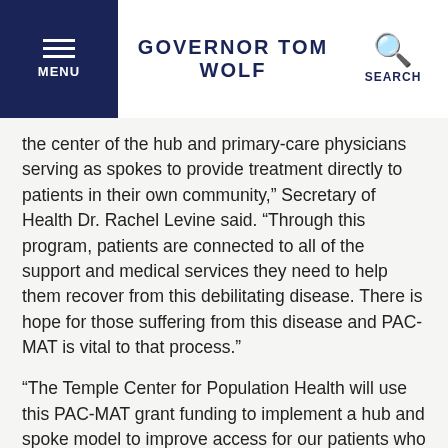GOVERNOR TOM WOLF
the center of the hub and primary-care physicians serving as spokes to provide treatment directly to patients in their own community,” Secretary of Health Dr. Rachel Levine said. “Through this program, patients are connected to all of the support and medical services they need to help them recover from this debilitating disease. There is hope for those suffering from this disease and PAC-MAT is vital to that process.”
“The Temple Center for Population Health will use this PAC-MAT grant funding to implement a hub and spoke model to improve access for our patients who require medication-assisted treatment for opioid use disorder,” Dr. Susan Freeman, Chief Medical Officer for Temple